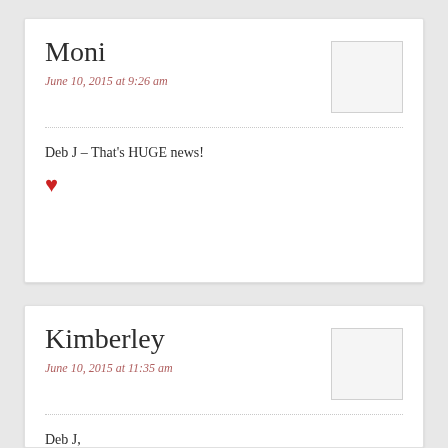Moni
June 10, 2015 at 9:26 am
Deb J – That's HUGE news!
♥
Kimberley
June 10, 2015 at 11:35 am
Deb J,